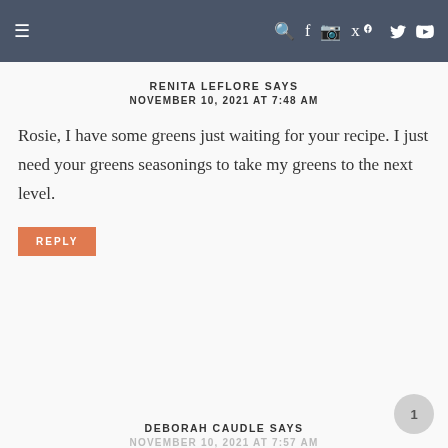Navigation bar with hamburger menu and social icons (search, facebook, instagram, pinterest, youtube)
RENITA LEFLORE SAYS
NOVEMBER 10, 2021 AT 7:48 AM
Rosie, I have some greens just waiting for your recipe. I just need your greens seasonings to take my greens to the next level.
REPLY
DEBORAH CAUDLE SAYS
NOVEMBER 10, 2021 AT 7:57 AM